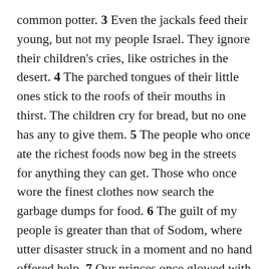common potter. 3 Even the jackals feed their young, but not my people Israel. They ignore their children's cries, like ostriches in the desert. 4 The parched tongues of their little ones stick to the roofs of their mouths in thirst. The children cry for bread, but no one has any to give them. 5 The people who once ate the richest foods now beg in the streets for anything they can get. Those who once wore the finest clothes now search the garbage dumps for food. 6 The guilt of my people is greater than that of Sodom, where utter disaster struck in a moment and no hand offered help. 7 Our princes once glowed with health— brighter than snow, whiter than milk. Their faces were as ruddy as rubies, their appearance like fine jewels. 8 But now their faces are blacker than soot. No one recognizes them in the streets. Their skin sticks to their bones; it is as dry and hard as wood. 9 Those